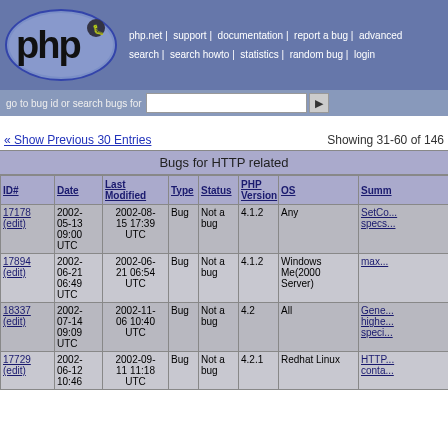php.net | support | documentation | report a bug | advanced search | search howto | statistics | random bug | login
go to bug id or search bugs for
« Show Previous 30 Entries   Showing 31-60 of 146
Bugs for HTTP related
| ID# | Date | Last Modified | Type | Status | PHP Version | OS | Summ |
| --- | --- | --- | --- | --- | --- | --- | --- |
| 17178 (edit) | 2002-05-13 09:00 UTC | 2002-08-15 17:39 UTC | Bug | Not a bug | 4.1.2 | Any | SetC... specs... |
| 17894 (edit) | 2002-06-21 06:49 UTC | 2002-06-21 06:54 UTC | Bug | Not a bug | 4.1.2 | Windows Me(2000 Server) | max... |
| 18337 (edit) | 2002-07-14 09:09 UTC | 2002-11-06 10:40 UTC | Bug | Not a bug | 4.2 | All | Gene... highe... speci... |
| 17729 (edit) | 2002-06-12 10:46 | 2002-09-11 11:18 UTC | Bug | Not a bug | 4.2.1 | Redhat Linux | HTTP... conta... |